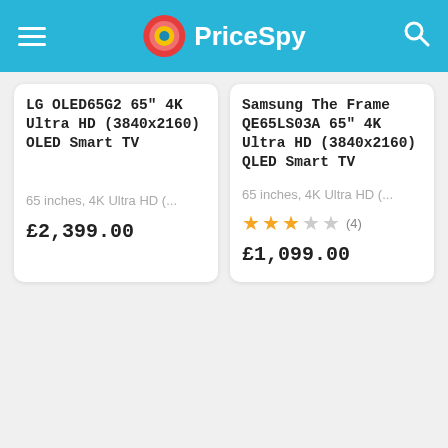PriceSpy
LG OLED65G2 65" 4K Ultra HD (3840x2160) OLED Smart TV
65 inches, 4K Ultra HD (…
£2,399.00
Samsung The Frame QE65LS03A 65" 4K Ultra HD (3840x2160) QLED Smart TV
65 inches, 4K Ultra HD (…
★★★☆☆ (4)
£1,099.00